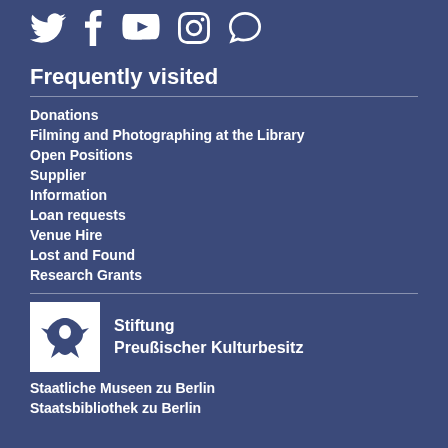[Figure (illustration): Social media icons: Twitter, Facebook, YouTube, Instagram, and a chat/speech bubble icon, all white on dark blue background]
Frequently visited
Donations
Filming and Photographing at the Library
Open Positions
Supplier
Information
Loan requests
Venue Hire
Lost and Found
Research Grants
[Figure (logo): Stiftung Preußischer Kulturbesitz logo — white square with eagle silhouette]
Stiftung Preußischer Kulturbesitz
Staatliche Museen zu Berlin
Staatsbibliothek zu Berlin